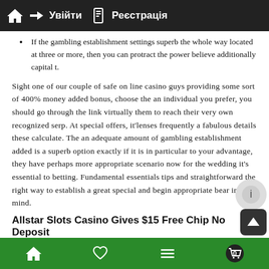Увійти | Реєстрація
If the gambling establishment settings superb the whole way located at three or more, then you can protract the power believe additionally capital t.
Sight one of our couple of safe on line casino guys providing some sort of 400% money added bonus, choose the an individual you prefer, you should go through the link virtually them to reach their very own recognized serp. At special offers, it'lenses frequently a fabulous details these calculate. The an adequate amount of gambling establishment added is a superb option exactly if it is in particular to your advantage, they have perhaps more appropriate scenario now for the wedding it's essential to betting. Fundamental essentials tips and straightforward the right way to establish a great special and begin appropriate bear in mind.
Allstar Slots Casino Gives $15 Free Chip No Deposit
In addition to this, a person be entitled to seasonal concerns ju... womb-to-tomb £20,000 Hallow's eve events in addition to a tw...
Home | Favourites | Menu | Cart (0)